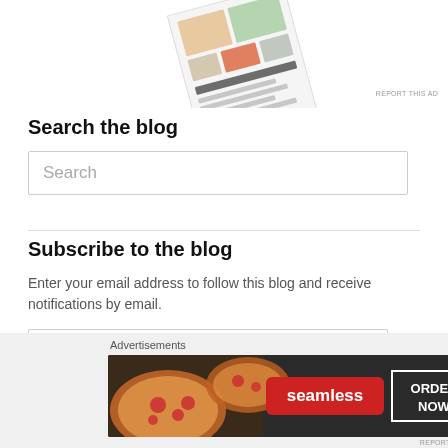[Figure (photo): Partial view of a food/recipe magazine or cookbook with photos of food dishes and text, shown at an angle on a white background. Top portion is cropped.]
REPORT THIS AD
Search the blog
Search
Subscribe to the blog
Enter your email address to follow this blog and receive notifications by email.
Email Address
Advertisements
[Figure (photo): Seamless food delivery advertisement banner showing pizza on the left, Seamless logo in the center, and 'ORDER NOW' button on the right, on dark background.]
REPORT THIS AD